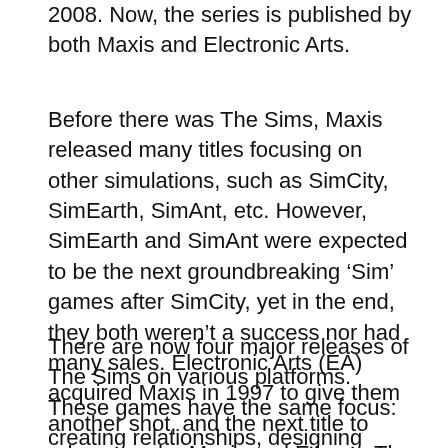2008. Now, the series is published by both Maxis and Electronic Arts.
Before there was The Sims, Maxis released many titles focusing on other simulations, such as SimCity, SimEarth, SimAnt, etc. However, SimEarth and SimAnt were expected to be the next groundbreaking 'Sim' games after SimCity, yet in the end, they both weren't a success nor had many sales. Electronic Arts (EA) acquired Maxis in 1997 to give them another shot, and the next title to release under Maxis and EA was The Sims.
There are now four major releases of The Sims on various platforms. These games have the same focus: creating relationships, designing unique houses, filling them with furniture, handling your 'sims' needs and hobbies, and doing everyday things like a person would do (eat, sleep, converse). The Sims is one of the